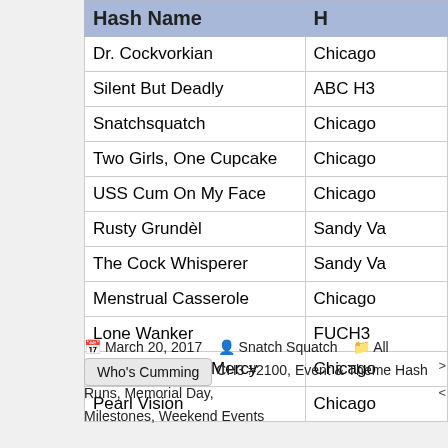| Hash Name | H |
| --- | --- |
| Dr. Cockvorkian | Chicago |
| Silent But Deadly | ABC H3 |
| Snatchsquatch | Chicago |
| Two Girls, One Cupcake | Chicago |
| USS Cum On My Face | Chicago |
| Rusty Grundèl | Sandy Va |
| The Cock Whisperer | Sandy Va |
| Menstrual Casserole | Chicago |
| Lone Wanker | FUCH3 |
| Bangs With No Mercy | Chicago |
| Pearl Vision | Chicago |
Who's Cumming
March 20, 2017  Snatch Squatch  All Chicago Hash Runs, CH3 #2100, Event & Theme Hash Runs, Memorial Day, Milestones, Weekend Events